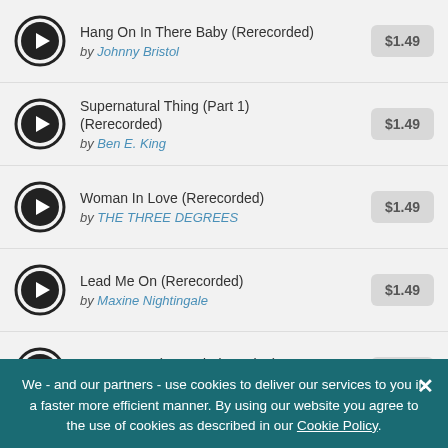Hang On In There Baby (Rerecorded) by Johnny Bristol $1.49
Supernatural Thing (Part 1) (Rerecorded) by Ben E. King $1.49
Woman In Love (Rerecorded) by THE THREE DEGREES $1.49
Lead Me On (Rerecorded) by Maxine Nightingale $1.49
Outa Space (Extended Version) by Billy Preston $1.49
Don't Leave Me This Way (partial, clipped)
We - and our partners - use cookies to deliver our services to you in a faster more efficient manner. By using our website you agree to the use of cookies as described in our Cookie Policy.